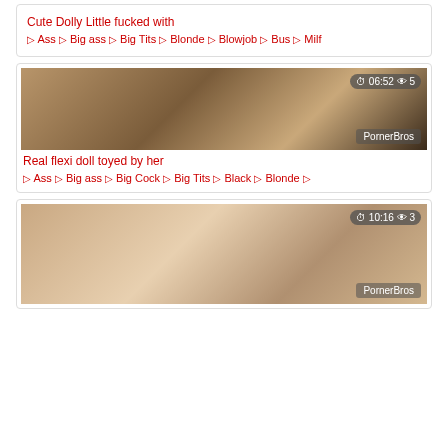Cute Dolly Little fucked with
🏷 Ass 🏷 Big ass 🏷 Big Tits 🏷 Blonde 🏷 Blowjob 🏷 Bus 🏷 Milf
[Figure (photo): Video thumbnail showing bedroom scene, duration 06:52, views 5, watermark PornerBros]
Real flexi doll toyed by her
🏷 Ass 🏷 Big ass 🏷 Big Cock 🏷 Big Tits 🏷 Black 🏷 Blonde 🏷
[Figure (photo): Video thumbnail showing person lying down, duration 10:16, views 3, watermark PornerBros]